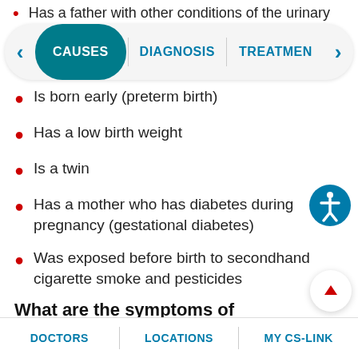Has a father with other conditions of the urinary
CAUSES | DIAGNOSIS | TREATMENT
Is born early (preterm birth)
Has a low birth weight
Is a twin
Has a mother who has diabetes during pregnancy (gestational diabetes)
Was exposed before birth to secondhand cigarette smoke and pesticides
What are the symptoms of hypospadias in a child?
Symptoms can occur a bit differently in each child.
DOCTORS | LOCATIONS | MY CS-LINK